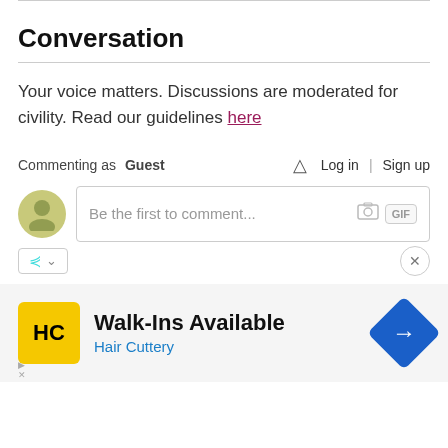Conversation
Your voice matters. Discussions are moderated for civility. Read our guidelines here
Commenting as Guest   Log in  Sign up
Be the first to comment...
[Figure (screenshot): Comment input area with avatar, text box, photo and GIF icons]
[Figure (infographic): Advertisement for Hair Cuttery: Walk-Ins Available, with HC logo and navigation icon]